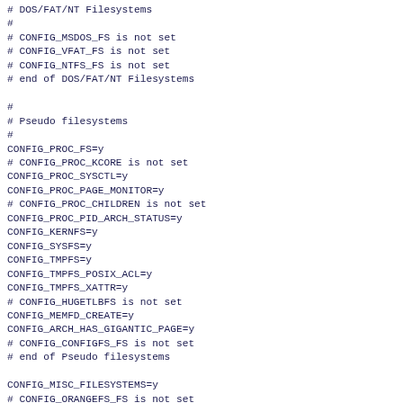# DOS/FAT/NT Filesystems
#
# CONFIG_MSDOS_FS is not set
# CONFIG_VFAT_FS is not set
# CONFIG_NTFS_FS is not set
# end of DOS/FAT/NT Filesystems

#
# Pseudo filesystems
#
CONFIG_PROC_FS=y
# CONFIG_PROC_KCORE is not set
CONFIG_PROC_SYSCTL=y
CONFIG_PROC_PAGE_MONITOR=y
# CONFIG_PROC_CHILDREN is not set
CONFIG_PROC_PID_ARCH_STATUS=y
CONFIG_KERNFS=y
CONFIG_SYSFS=y
CONFIG_TMPFS=y
CONFIG_TMPFS_POSIX_ACL=y
CONFIG_TMPFS_XATTR=y
# CONFIG_HUGETLBFS is not set
CONFIG_MEMFD_CREATE=y
CONFIG_ARCH_HAS_GIGANTIC_PAGE=y
# CONFIG_CONFIGFS_FS is not set
# end of Pseudo filesystems

CONFIG_MISC_FILESYSTEMS=y
# CONFIG_ORANGEFS_FS is not set
# CONFIG_ADFS_FS is not set
# CONFIG_AFFS_FS is not set